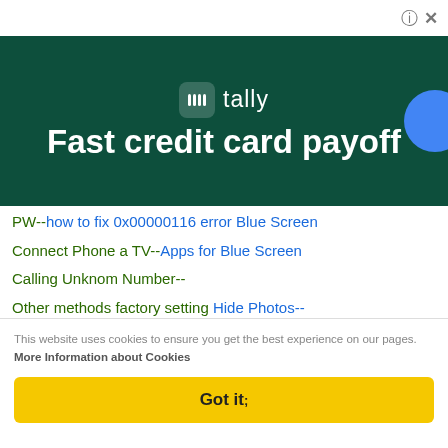[Figure (screenshot): Top bar with help (?) and close (X) icons in top right corner]
[Figure (infographic): Tally app advertisement banner with dark green background showing Tally logo and tagline 'Fast credit card payoff']
PW-- [broken img] how to fix 0x00000116 error Blue Screen
Connect Phone a TV-- [broken img] Apps for Blue Screen
Calling Unknom Number--
[broken img] Other methods factory setting Hide Photos--
[broken img] Apps for Blue Screen Record Calls--
[broken img] Apps for Blue Screen Transfer on Imagen-- [broken img] yyxx
Restore iPhone--
[broken img] how to fix error 0x00000116
VIDEO_TDR_ERROR
This website uses cookies to ensure you get the best experience on our pages. More Information about Cookies
Got it;